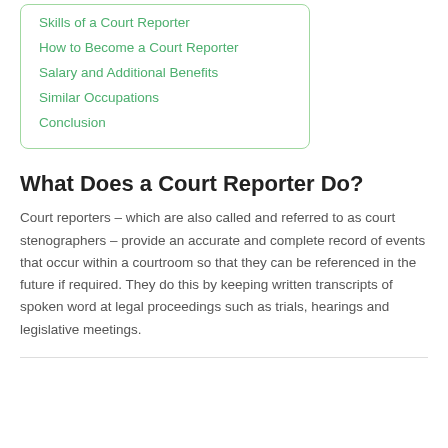Skills of a Court Reporter
How to Become a Court Reporter
Salary and Additional Benefits
Similar Occupations
Conclusion
What Does a Court Reporter Do?
Court reporters – which are also called and referred to as court stenographers – provide an accurate and complete record of events that occur within a courtroom so that they can be referenced in the future if required. They do this by keeping written transcripts of spoken word at legal proceedings such as trials, hearings and legislative meetings.